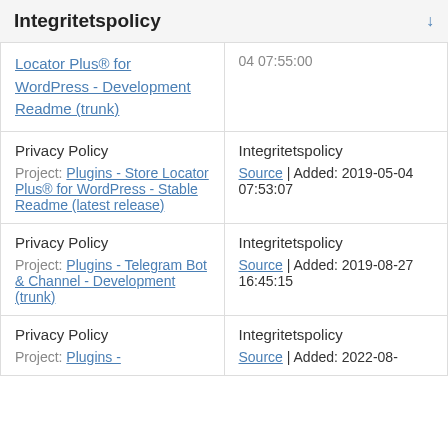Integritetspolicy
| Original / Project | Translation / Source |
| --- | --- |
| Locator Plus® for WordPress - Development Readme (trunk) | 04 07:55:00 |
| Privacy Policy
Project: Plugins - Store Locator Plus® for WordPress - Stable Readme (latest release) | Integritetspolicy
Source | Added: 2019-05-04 07:53:07 |
| Privacy Policy
Project: Plugins - Telegram Bot & Channel - Development (trunk) | Integritetspolicy
Source | Added: 2019-08-27 16:45:15 |
| Privacy Policy
Project: Plugins - | Integritetspolicy
Source | Added: 2022-08- |